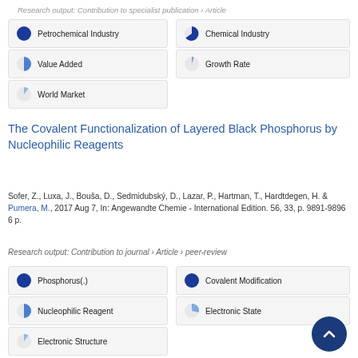Research output: Contribution to specialist publication > Article
100% Petrochemical Industry
75% Chemical Industry
50% Value Added
14% Growth Rate
25% World Market
The Covalent Functionalization of Layered Black Phosphorus by Nucleophilic Reagents
Sofer, Z., Luxa, J., Bouša, D., Sedmidubský, D., Lazar, P., Hartman, T., Hardtdegen, H. & Pumera, M., 2017 Aug 7, In: Angewandte Chemie - International Edition. 56, 33, p. 9891-9896 6 p.
Research output: Contribution to journal › Article › peer-review
100% Phosphorus(.)
100% Covalent Modification
50% Nucleophilic Reagent
38% Electronic State
25% Electronic Structure